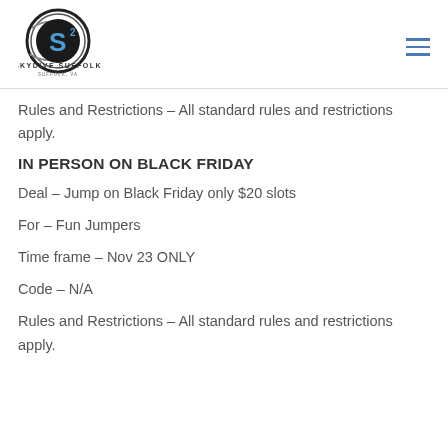[Figure (logo): Skydive Suffolk logo — circular emblem with stylized S2 letter mark and text SKYDIVE SUFFOLK below]
Rules and Restrictions – All standard rules and restrictions apply.
IN PERSON ON BLACK FRIDAY
Deal – Jump on Black Friday only $20 slots
For – Fun Jumpers
Time frame – Nov 23 ONLY
Code – N/A
Rules and Restrictions – All standard rules and restrictions apply.